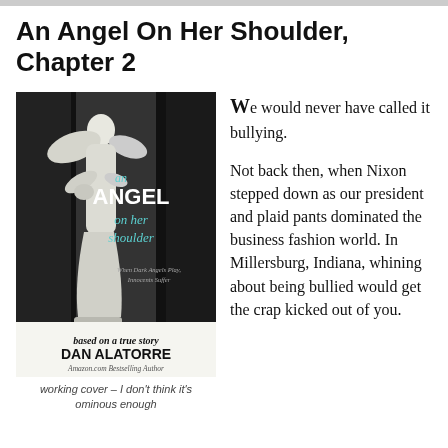An Angel On Her Shoulder, Chapter 2
[Figure (illustration): Book cover for 'an ANGEL on her shoulder' by Dan Alatorre, featuring a white angel statue against a dark background with teal text, subtitle 'When Dark Angels Play, Innocents Suffer', tagline 'based on a true story', and 'Amazon.com Bestselling Author']
working cover – I don't think it's ominous enough
We would never have called it bullying.

Not back then, when Nixon stepped down as our president and plaid pants dominated the business fashion world. In Millersburg, Indiana, whining about being bullied would get the crap kicked out of you.